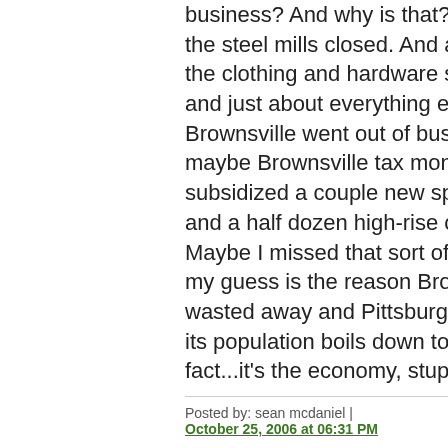business? And why is that? Because the steel mills closed. And as a result, the clothing and hardware stores — and just about everything else — in Brownsville went out of business. Or maybe Brownsville tax money subsidized a couple new sports arenas and a half dozen high-rise condos. Maybe I missed that sort of thing. But my guess is the reason Brownsville wasted away and Pittsburgh lost half its population boils down to this simple fact...it's the economy, stupid.
Posted by: sean mcdaniel | October 25, 2006 at 06:31 PM